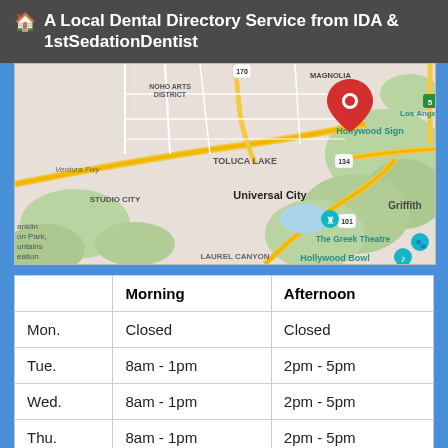🏠 A Local Dental Directory Service from IDA & 1stSedationDentist
[Figure (map): Google Maps screenshot showing the area around North Hollywood, Toluca Lake, Universal City, Studio City, Hollywood Sign, Griffith area, The Greek Theatre, Hollywood Bowl, and Los Angeles Zoo. A red location pin marker is placed in the Magnolia area of North Hollywood. Major roads including Ventura Fwy, route 101, route 134, route 170, and route 5 are visible.]
|  | Morning | Afternoon |
| --- | --- | --- |
| Mon. | Closed | Closed |
| Tue. | 8am - 1pm | 2pm - 5pm |
| Wed. | 8am - 1pm | 2pm - 5pm |
| Thu. | 8am - 1pm | 2pm - 5pm |
| Fri. | 8am - 12pm | 1pm - 3pm |